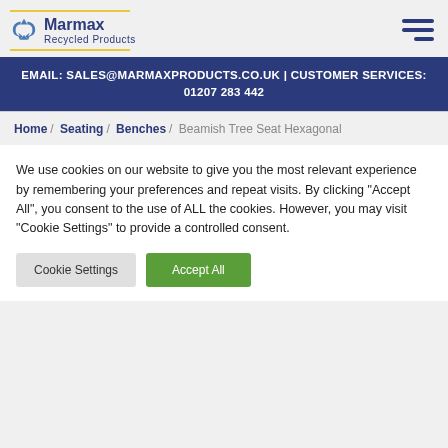Marmax Recycled Products — EMAIL: SALES@MARMAXPRODUCTS.CO.UK | CUSTOMER SERVICES: 01207 283 442
Home / Seating / Benches / Beamish Tree Seat Hexagonal
We use cookies on our website to give you the most relevant experience by remembering your preferences and repeat visits. By clicking "Accept All", you consent to the use of ALL the cookies. However, you may visit "Cookie Settings" to provide a controlled consent.